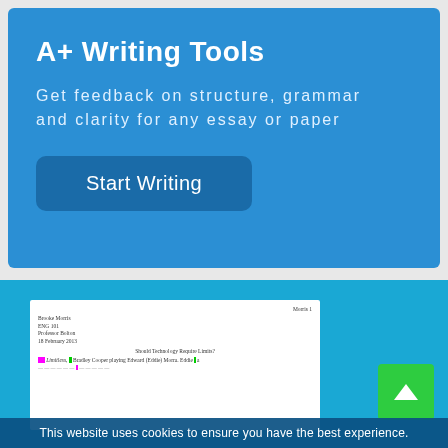A+ Writing Tools
Get feedback on structure, grammar and clarity for any essay or paper
Start Writing
[Figure (screenshot): Preview of a student essay document with highlighted text. Shows student name 'Brooke Morris', 'ENG 101', 'Professor Bolton', '18 February 2013', title 'Should Technology Require Limits?' and a highlighted text line referencing 'Limitless' and 'Bradley Cooper playing Edward (Eddie) Morra'. Pink and green highlighting visible on text.]
This website uses cookies to ensure you have the best experience.